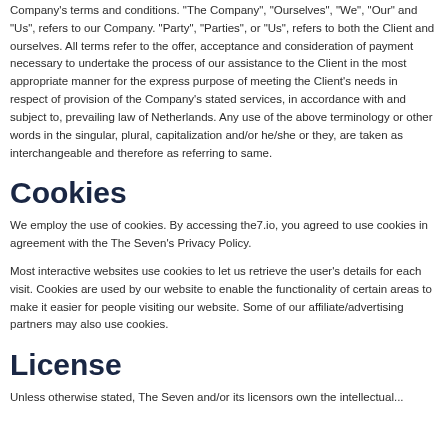Company's terms and conditions. "The Company", "Ourselves", "We", "Our" and "Us", refers to our Company. "Party", "Parties", or "Us", refers to both the Client and ourselves. All terms refer to the offer, acceptance and consideration of payment necessary to undertake the process of our assistance to the Client in the most appropriate manner for the express purpose of meeting the Client's needs in respect of provision of the Company's stated services, in accordance with and subject to, prevailing law of Netherlands. Any use of the above terminology or other words in the singular, plural, capitalization and/or he/she or they, are taken as interchangeable and therefore as referring to same.
Cookies
We employ the use of cookies. By accessing the7.io, you agreed to use cookies in agreement with the The Seven's Privacy Policy.
Most interactive websites use cookies to let us retrieve the user's details for each visit. Cookies are used by our website to enable the functionality of certain areas to make it easier for people visiting our website. Some of our affiliate/advertising partners may also use cookies.
License
Unless otherwise stated, The Seven and/or its licensors own the intellectual...